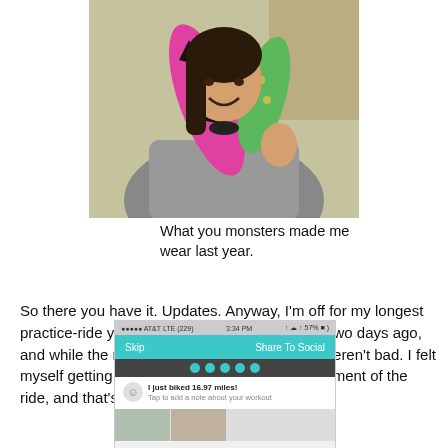[Figure (photo): A person wearing a colorful dinosaur neck pillow/costume accessory, giving a thumbs up, selfie-style photo indoors.]
What you monsters made me wear last year.
So there you have it. Updates. Anyway, I'm off for my longest practice-ride yet, now: 30 miles. I did a 17-miletwo days ago, and while the results weren't great, well, they weren't bad. I felt myself getting stronger and faster on every segment of the ride, and that's a good sign.
[Figure (screenshot): Screenshot of a mobile app (AT&T LTE, 3:34 PM, 57% battery) showing a 'Share To Social' screen with text 'I just biked 16.97 miles! Tap to add a note about your workout' and dots navigation and thumbnail photos below.]